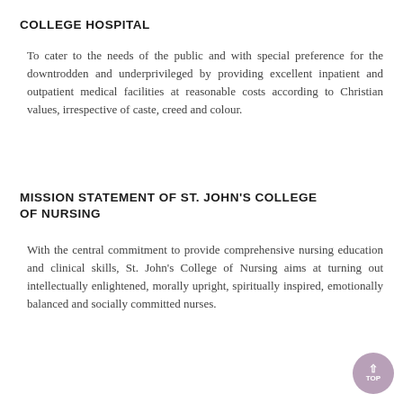COLLEGE HOSPITAL
To cater to the needs of the public and with special preference for the downtrodden and underprivileged by providing excellent inpatient and outpatient medical facilities at reasonable costs according to Christian values, irrespective of caste, creed and colour.
MISSION STATEMENT OF ST. JOHN'S COLLEGE OF NURSING
With the central commitment to provide comprehensive nursing education and clinical skills, St. John's College of Nursing aims at turning out intellectually enlightened, morally upright, spiritually inspired, emotionally balanced and socially committed nurses.